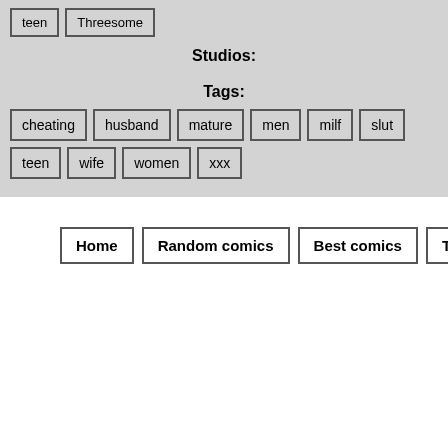teen | Threesome
Studios:
Tags:
cheating
husband
mature
men
milf
slut
teen
wife
women
xxx
Home
Random comics
Best comics
Tags